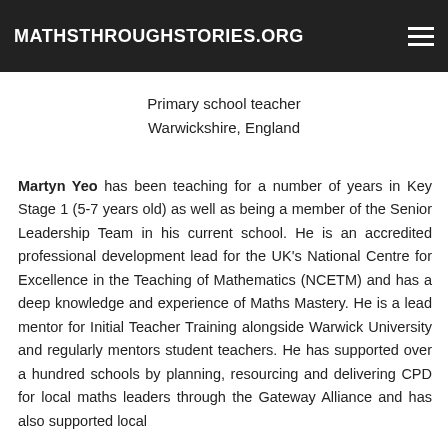MATHSTHROUGHSTORIES.ORG
Primary school teacher
Warwickshire, England
Martyn Yeo has been teaching for a number of years in Key Stage 1 (5-7 years old) as well as being a member of the Senior Leadership Team in his current school. He is an accredited professional development lead for the UK's National Centre for Excellence in the Teaching of Mathematics (NCETM) and has a deep knowledge and experience of Maths Mastery. He is a lead mentor for Initial Teacher Training alongside Warwick University and regularly mentors student teachers. He has supported over a hundred schools by planning, resourcing and delivering CPD for local maths leaders through the Gateway Alliance and has also supported local